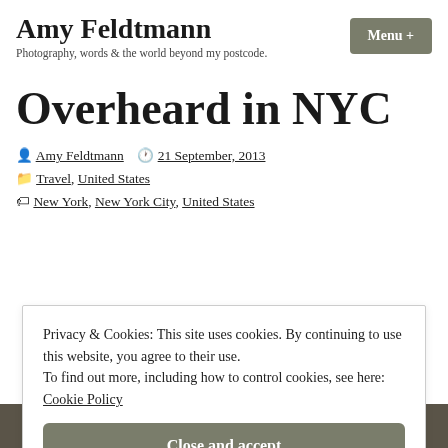Amy Feldtmann
Photography, words & the world beyond my postcode.
Menu +
Overheard in NYC
Amy Feldtmann  21 September, 2013
Travel, United States
New York, New York City, United States
Privacy & Cookies: This site uses cookies. By continuing to use this website, you agree to their use.
To find out more, including how to control cookies, see here: Cookie Policy
Close and accept